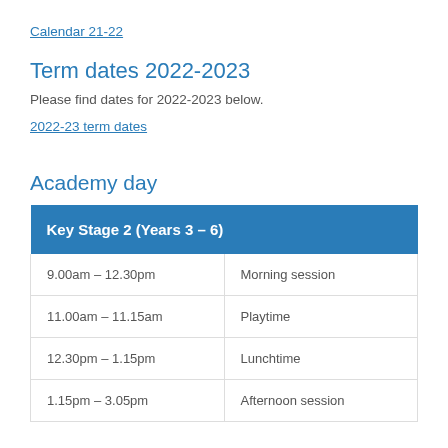Calendar 21-22
Term dates 2022-2023
Please find dates for 2022-2023 below.
2022-23 term dates
Academy day
| Key Stage 2 (Years 3 – 6) |  |
| --- | --- |
| 9.00am – 12.30pm | Morning session |
| 11.00am – 11.15am | Playtime |
| 12.30pm – 1.15pm | Lunchtime |
| 1.15pm – 3.05pm | Afternoon session |